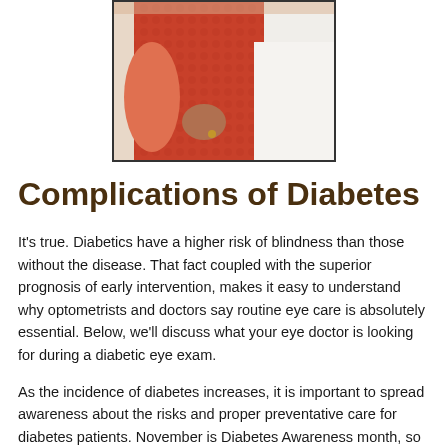[Figure (photo): Two people embracing — a woman in a red/orange patterned top and a man in a white shirt, cropped to show their torsos and arms]
Complications of Diabetes
It's true. Diabetics have a higher risk of blindness than those without the disease. That fact coupled with the superior prognosis of early intervention, makes it easy to understand why optometrists and doctors say routine eye care is absolutely essential. Below, we'll discuss what your eye doctor is looking for during a diabetic eye exam.
As the incidence of diabetes increases, it is important to spread awareness about the risks and proper preventative care for diabetes patients. November is Diabetes Awareness month, so read on!
Diabetics are at greater risk of for a number of eye problems...